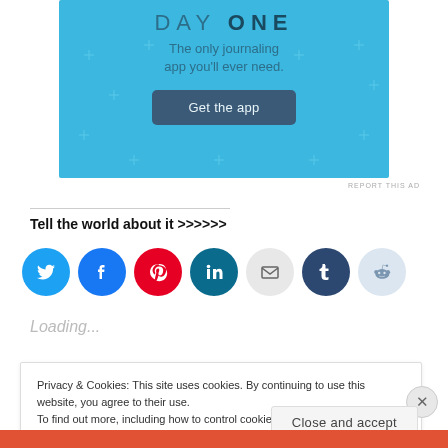[Figure (screenshot): Day One journaling app advertisement banner with light blue background, text 'DAY ONE - The only journaling app you'll ever need.' and a 'Get the app' button]
REPORT THIS AD
Tell the world about it >>>>>>
[Figure (infographic): Row of social sharing icon circles: Twitter (blue bird), Facebook (blue f), Pinterest (red P), LinkedIn (teal in), Email (grey envelope), Tumblr (dark blue t), Reddit (light blue alien)]
Loading...
Privacy & Cookies: This site uses cookies. By continuing to use this website, you agree to their use.
To find out more, including how to control cookies, see here: Cookie Policy
Close and accept